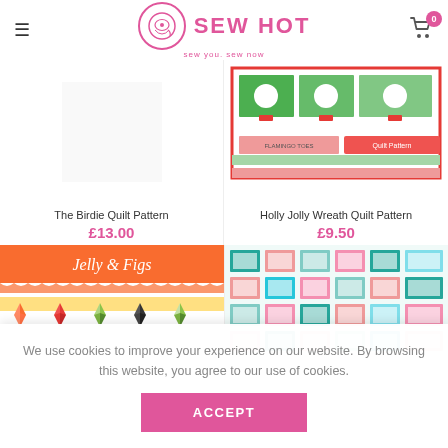Sew Hot — sew you. sew now
[Figure (photo): Holly Jolly Wreath Quilt Pattern product image — colorful quilt with green/red wreath motifs on white background with red border]
The Birdie Quilt Pattern
£13.00
Holly Jolly Wreath Quilt Pattern
£9.50
[Figure (photo): Jelly & Figs quilt pattern product image — orange banner with script text, colorful pinwheel quilt below]
[Figure (photo): Quilt pattern product image — grid of multicolored square blocks in teal, pink, coral on white]
We use cookies to improve your experience on our website. By browsing this website, you agree to our use of cookies.
ACCEPT